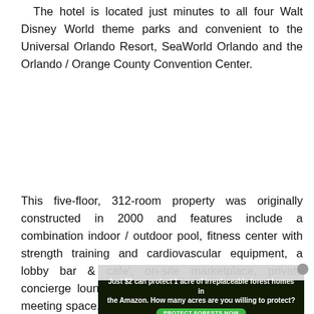The hotel is located just minutes to all four Walt Disney World theme parks and convenient to the Universal Orlando Resort, SeaWorld Orlando and the Orlando / Orange County Convention Center.
This five-floor, 312-room property was originally constructed in 2000 and features include a combination indoor / outdoor pool, fitness center with strength training and cardiovascular equipment, a lobby bar & cafe', on-site marketplace, private concierge lounge and 2,866 square feet of event & meeting space.  During our most recent stay in the fall 2021, the building and grounds were found to be in good condition and well maintained.
[Figure (other): Video player overlay showing 'No compatible source was found for this' message, with an advertisement banner below reading 'Just $2 can protect 1 acre of irreplaceable forest homes in the Amazon. How many acres are you willing to protect?' with a 'PROTECT FORESTS NOW' green button.]